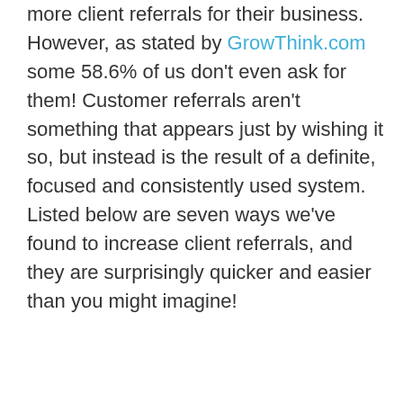Everyone is on the lookout for tips to get more client referrals for their business. However, as stated by GrowThink.com some 58.6% of us don't even ask for them! Customer referrals aren't something that appears just by wishing it so, but instead is the result of a definite, focused and consistently used system. Listed below are seven ways we've found to increase client referrals, and they are surprisingly quicker and easier than you might imagine!